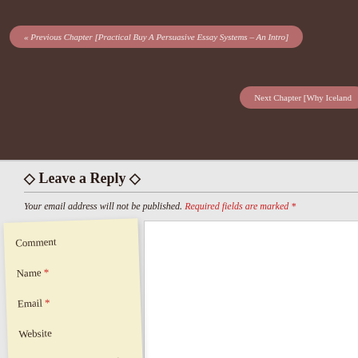« Previous Chapter [Practical Buy A Persuasive Essay Systems – An Intro]
Next Chapter [Why Iceland
◇ Leave a Reply ◇
Your email address will not be published. Required fields are marked *
Comment
Name *
Email *
Website
Save my name, email, and website in this browser for the next time I